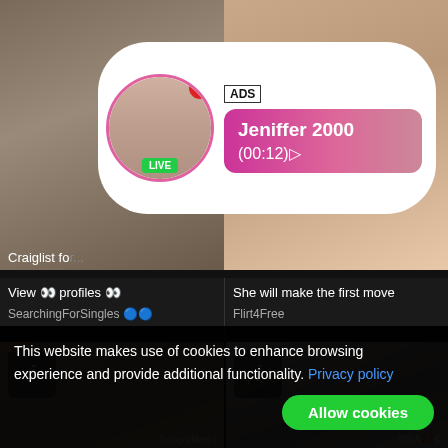[Figure (screenshot): Adult website screenshot with notification bubble showing 'ADS Jeniffer 2000 (00:12)' with LIVE badge, overlaid on adult content thumbnails]
View 👀 profiles 👀
She will make the first move
SearchingForSingles 🔵🔵
Flirt4Free
[Figure (photo): Adult content video thumbnail left with info button and SoapyMass watermark]
[Figure (photo): Adult content video thumbnail right with info button and BRAZZZE watermark]
This website makes use of cookies to enhance browsing experience and provide additional functionality. Privacy policy
Allow cookies